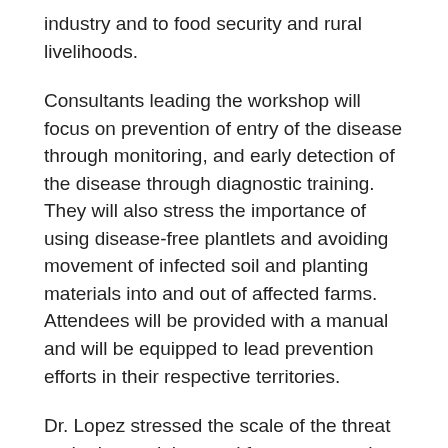industry and to food security and rural livelihoods.
Consultants leading the workshop will focus on prevention of entry of the disease through monitoring, and early detection of the disease through diagnostic training. They will also stress the importance of using disease-free plantlets and avoiding movement of infected soil and planting materials into and out of affected farms. Attendees will be provided with a manual and will be equipped to lead prevention efforts in their respective territories.
Dr. Lopez stressed the scale of the threat and reiterated the need for a concerted effort in enhancing prevention measures to keep Fusarium TR4 out of the Caribbean. "Thus far, the Caribbean and Latin America is free of Fusarium wilt but given the recent spread of TR4, we need to protect our banana crops, which are grown mostly on small, rural family farms and are very important for the food and nutrition security of our region. All the stakeholders in the banana industry must therefore come together to raise